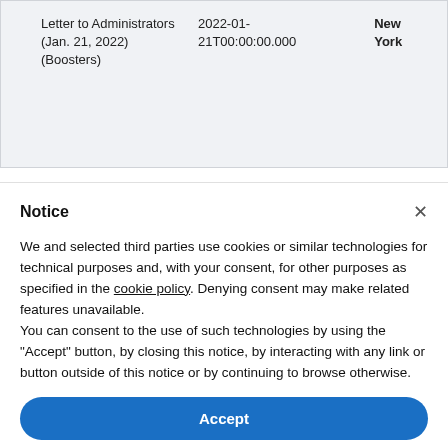| Letter to Administrators (Jan. 21, 2022) (Boosters) | 2022-01-21T00:00:00.000 | New York |
Notice
We and selected third parties use cookies or similar technologies for technical purposes and, with your consent, for other purposes as specified in the cookie policy. Denying consent may make related features unavailable.
You can consent to the use of such technologies by using the "Accept" button, by closing this notice, by interacting with any link or button outside of this notice or by continuing to browse otherwise.
Accept
Learn more